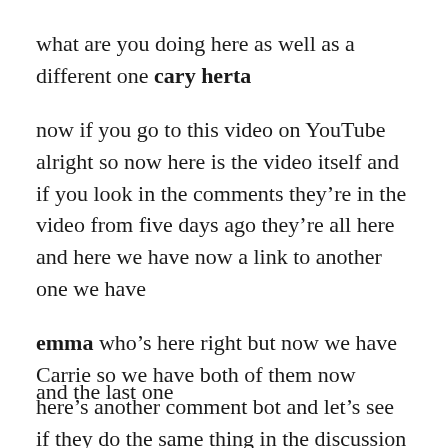what are you doing here as well as a different one cary herta
now if you go to this video on YouTube alright so now here is the video itself and if you look in the comments they’re in the video from five days ago they’re all here and here we have now a link to another one we have
emma who’s here right but now we have Carrie so we have both of them now here’s another comment bot and let’s see if they do the same thing in the discussion yep i expected that they do the same thing spamming their own link as well as they were created within the month like within the last month that’s very interesting.
and the last one...